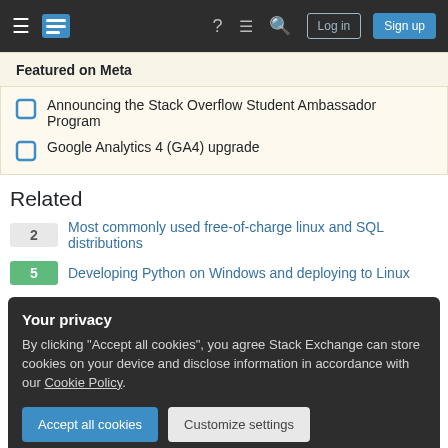Stack Overflow navigation bar with Log in and Sign up buttons
Featured on Meta
Announcing the Stack Overflow Student Ambassador Program
Google Analytics 4 (GA4) upgrade
Related
2 Most commonly used free-of-charge linux and SQL distributions
5 Developing Python on Windows and deploying to Linux
Your privacy
By clicking "Accept all cookies", you agree Stack Exchange can store cookies on your device and disclose information in accordance with our Cookie Policy.
Accept all cookies | Customize settings